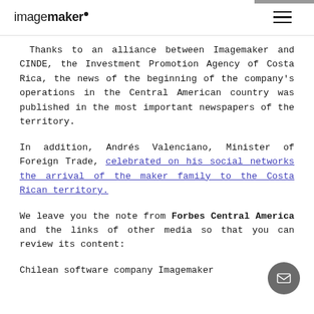imagemaker
Thanks to an alliance between Imagemaker and CINDE, the Investment Promotion Agency of Costa Rica, the news of the beginning of the company's operations in the Central American country was published in the most important newspapers of the territory.
In addition, Andrés Valenciano, Minister of Foreign Trade, celebrated on his social networks the arrival of the maker family to the Costa Rican territory.
We leave you the note from Forbes Central America and the links of other media so that you can review its content:
Chilean software company Imagemaker begins operations in Costa Rica...